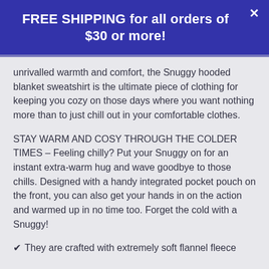FREE SHIPPING for all orders of $30 or more!
unrivalled warmth and comfort, the Snuggy hooded blanket sweatshirt is the ultimate piece of clothing for keeping you cozy on those days where you want nothing more than to just chill out in your comfortable clothes.
STAY WARM AND COSY THROUGH THE COLDER TIMES – Feeling chilly? Put your Snuggy on for an instant extra-warm hug and wave goodbye to those chills. Designed with a handy integrated pocket pouch on the front, you can also get your hands in on the action and warmed up in no time too. Forget the cold with a Snuggy!
They are crafted with extremely soft flannel fleece